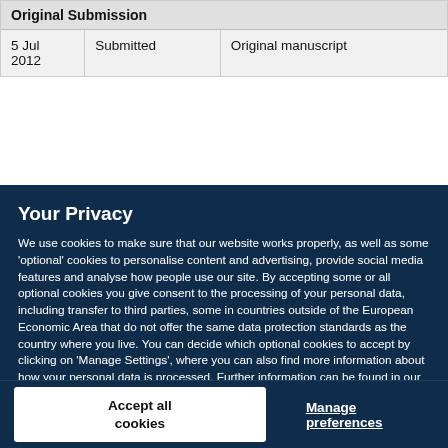| Original Submission |  |  |
| --- | --- | --- |
| 5 Jul 2012 | Submitted | Original manuscript |
Your Privacy
We use cookies to make sure that our website works properly, as well as some 'optional' cookies to personalise content and advertising, provide social media features and analyse how people use our site. By accepting some or all optional cookies you give consent to the processing of your personal data, including transfer to third parties, some in countries outside of the European Economic Area that do not offer the same data protection standards as the country where you live. You can decide which optional cookies to accept by clicking on 'Manage Settings', where you can also find more information about how your personal data is processed. Further information can be found in our privacy policy.
Accept all cookies
Manage preferences